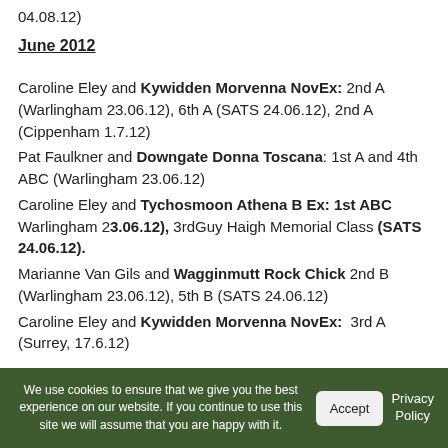04.08.12)
June 2012
Caroline Eley and Kywidden Morvenna NovEx: 2nd A (Warlingham 23.06.12), 6th A (SATS 24.06.12), 2nd A (Cippenham 1.7.12)
Pat Faulkner and Downgate Donna Toscana: 1st A and 4th ABC (Warlingham 23.06.12)
Caroline Eley and Tychosmoon Athena B Ex: 1st ABC Warlingham 23.06.12), 3rdGuy Haigh Memorial Class (SATS 24.06.12).
Marianne Van Gils and Wagginmutt Rock Chick 2nd B (Warlingham 23.06.12), 5th B (SATS 24.06.12)
Caroline Eley and Kywidden Morvenna NovEx: 3rd A (Surrey, 17.6.12)
We use cookies to ensure that we give you the best experience on our website. If you continue to use this site we will assume that you are happy with it.